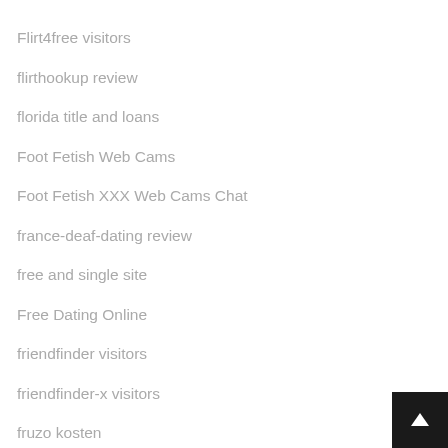Flirt4free visitors
flirthookup review
florida title and loans
Foot Fetish Web Cams
Foot Fetish XXX Web Cams Chat
france-deaf-dating review
free and single site
Free Dating Online
friendfinder visitors
friendfinder-x visitors
fruzo kosten
fuckbookhookup adult dating
FuckOnCam Web Cam